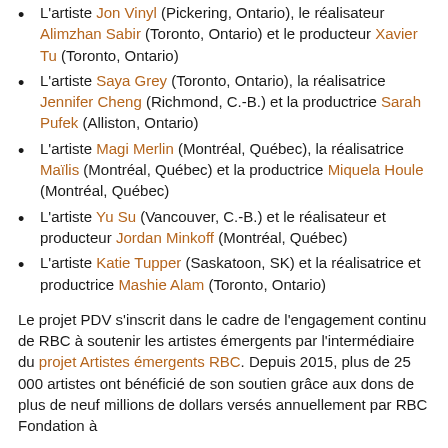L'artiste Jon Vinyl (Pickering, Ontario), le réalisateur Alimzhan Sabir (Toronto, Ontario) et le producteur Xavier Tu (Toronto, Ontario)
L'artiste Saya Grey (Toronto, Ontario), la réalisatrice Jennifer Cheng (Richmond, C.-B.) et la productrice Sarah Pufek (Alliston, Ontario)
L'artiste Magi Merlin (Montréal, Québec), la réalisatrice Maïlis (Montréal, Québec) et la productrice Miquela Houle (Montréal, Québec)
L'artiste Yu Su (Vancouver, C.-B.) et le réalisateur et producteur Jordan Minkoff (Montréal, Québec)
L'artiste Katie Tupper (Saskatoon, SK) et la réalisatrice et productrice Mashie Alam (Toronto, Ontario)
Le projet PDV s'inscrit dans le cadre de l'engagement continu de RBC à soutenir les artistes émergents par l'intermédiaire du projet Artistes émergents RBC. Depuis 2015, plus de 25 000 artistes ont bénéficié de son soutien grâce aux dons de plus de neuf millions de dollars versés annuellement par RBC Fondation à